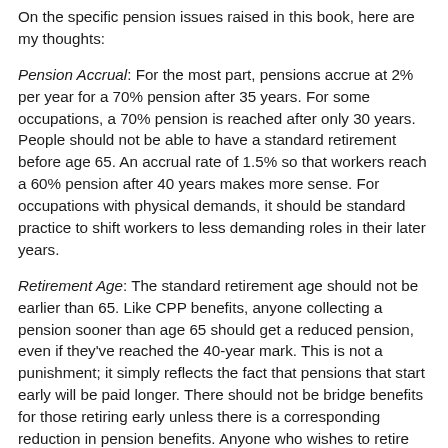On the specific pension issues raised in this book, here are my thoughts:
Pension Accrual: For the most part, pensions accrue at 2% per year for a 70% pension after 35 years. For some occupations, a 70% pension is reached after only 30 years. People should not be able to have a standard retirement before age 65. An accrual rate of 1.5% so that workers reach a 60% pension after 40 years makes more sense. For occupations with physical demands, it should be standard practice to shift workers to less demanding roles in their later years.
Retirement Age: The standard retirement age should not be earlier than 65. Like CPP benefits, anyone collecting a pension sooner than age 65 should get a reduced pension, even if they've reached the 40-year mark. This is not a punishment; it simply reflects the fact that pensions that start early will be paid longer. There should not be bridge benefits for those retiring early unless there is a corresponding reduction in pension benefits. Anyone who wishes to retire early should save up to make up the difference for a reduced pension.